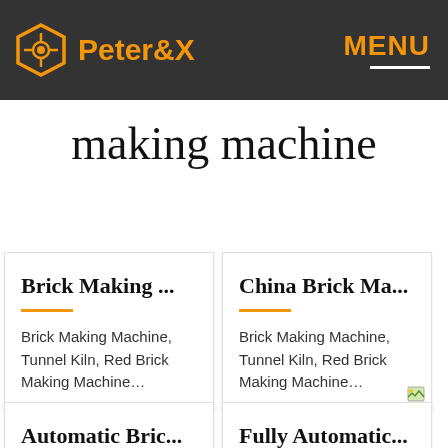Peter&X  MENU
making machine
Brick Making ...
Brick Making Machine, Tunnel Kiln, Red Brick Making Machine…
China Brick Ma...
Brick Making Machine, Tunnel Kiln, Red Brick Making Machine…
Automatic Bric...
Fully Automatic...